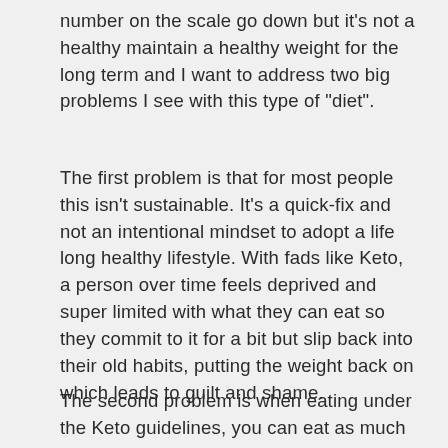number on the scale go down but it's not a healthy maintain a healthy weight for the long term and I want to address two big problems I see with this type of "diet".
The first problem is that for most people this isn't sustainable. It's a quick-fix and not an intentional mindset to adopt a life long healthy lifestyle. With fads like Keto, a person over time feels deprived and super limited with what they can eat so they commit to it for a bit but slip back into their old habits, putting the weight back on which leads to guilt and shame.
The second problem is when eating under the Keto guidelines, you can eat as much fat as you want but like carbs, not all fats are created equal. Some fats like avocados, soybeans, nuts